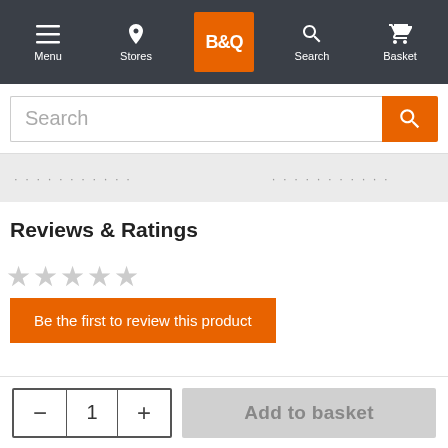B&Q navigation bar with Menu, Stores, B&Q logo, Search, Basket
[Figure (screenshot): B&Q website top navigation bar with Menu, Stores, B&Q logo, Search, Basket icons on dark background]
Search
Reviews & Ratings
★★★★★ (empty stars)
Be the first to review this product
1
Add to basket